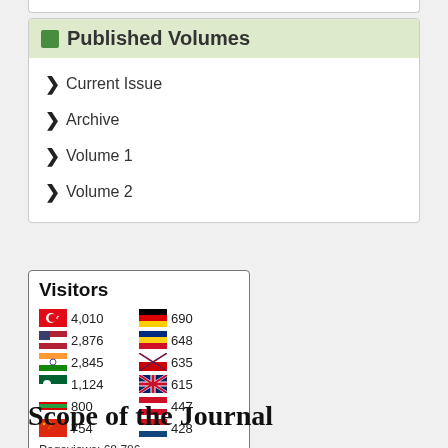Published Volumes
Current Issue
Archive
Volume 1
Volume 2
[Figure (infographic): Visitors counter widget showing flag icons with visitor counts by country: Turkey 4,010; USA 2,876; India 2,845; Algeria 1,124; Iran 800; China 754; Germany 690; Romania 648; Malaysia 635; UK 615; Indonesia 447; Czech Republic 428. Pageviews: 68,786. FLAG counter logo at bottom.]
Scope of the Journal